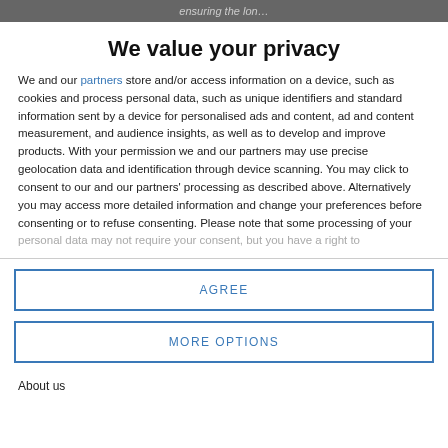ensuring the lon…
We value your privacy
We and our partners store and/or access information on a device, such as cookies and process personal data, such as unique identifiers and standard information sent by a device for personalised ads and content, ad and content measurement, and audience insights, as well as to develop and improve products. With your permission we and our partners may use precise geolocation data and identification through device scanning. You may click to consent to our and our partners' processing as described above. Alternatively you may access more detailed information and change your preferences before consenting or to refuse consenting. Please note that some processing of your personal data may not require your consent, but you have a right to
AGREE
MORE OPTIONS
About us